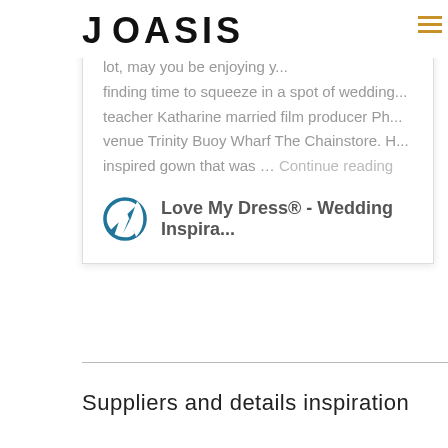JOASIS
lot, may you be enjoying y... finding time to squeeze in a spot of wedding... teacher Katharine married film producer Ph... venue Trinity Buoy Wharf The Chainstore. H... inspired gown that was … Continue reading
Love My Dress® - Wedding Inspira...
Suppliers and details inspiration